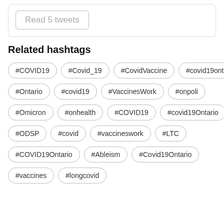Read 5 tweets
Related hashtags
#COVID19
#Covid_19
#CovidVaccine
#covid19ontario
#Ontario
#covid19
#VaccinesWork
#onpoli
#Omicron
#onhealth
#COVID​19
#covid19Ontario
#ODSP
#covid
#vaccineswork
#LTC
#COVID19Ontario
#Ableism
#Covid19Ontario
#vaccines
#longcovid